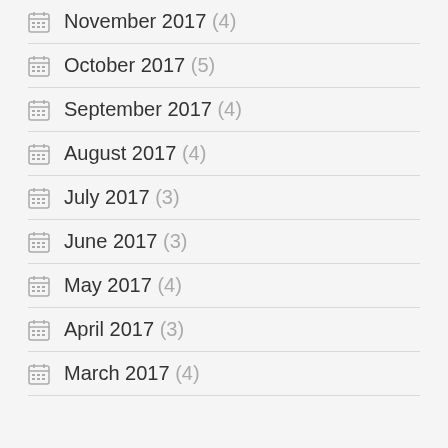November 2017 (4)
October 2017 (5)
September 2017 (4)
August 2017 (4)
July 2017 (3)
June 2017 (3)
May 2017 (4)
April 2017 (3)
March 2017 (4)